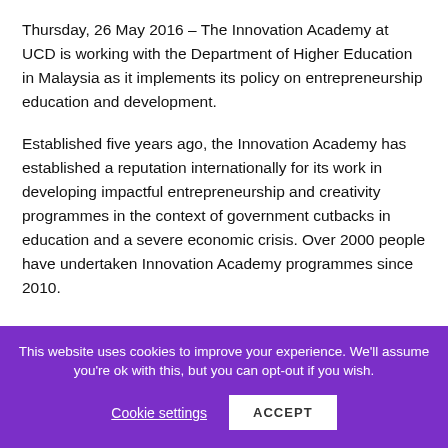Thursday, 26 May 2016 – The Innovation Academy at UCD is working with the Department of Higher Education in Malaysia as it implements its policy on entrepreneurship education and development.
Established five years ago, the Innovation Academy has established a reputation internationally for its work in developing impactful entrepreneurship and creativity programmes in the context of government cutbacks in education and a severe economic crisis. Over 2000 people have undertaken Innovation Academy programmes since 2010.
This website uses cookies to improve your experience. We'll assume you're ok with this, but you can opt-out if you wish.
Cookie settings
ACCEPT